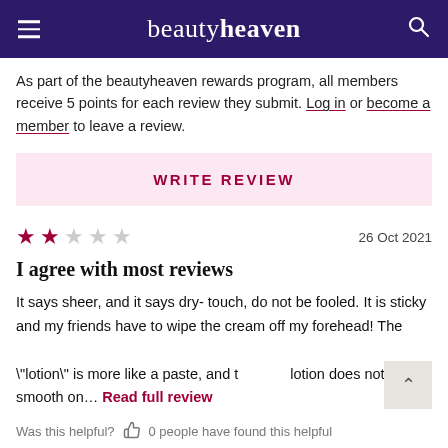beautyheaven
As part of the beautyheaven rewards program, all members receive 5 points for each review they submit. Log in or become a member to leave a review.
WRITE REVIEW
★★☆☆☆  26 Oct 2021
I agree with most reviews
It says sheer, and it says dry- touch, do not be fooled. It is sticky and my friends have to wipe the cream off my forehead! The "lotion" is more like a paste, and t lotion does not smooth on... Read full review
Was this helpful?  0 people have found this helpful